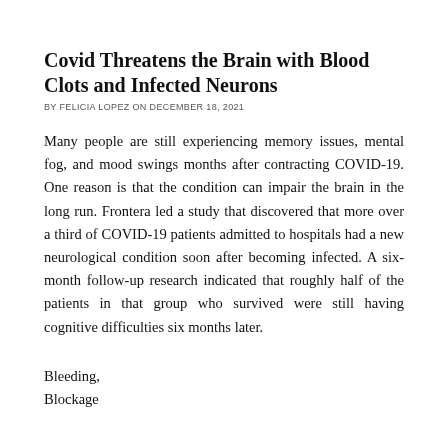Covid Threatens the Brain with Blood Clots and Infected Neurons
BY FELICIA LOPEZ ON DECEMBER 18, 2021
Many people are still experiencing memory issues, mental fog, and mood swings months after contracting COVID-19. One reason is that the condition can impair the brain in the long run. Frontera led a study that discovered that more over a third of COVID-19 patients admitted to hospitals had a new neurological condition soon after becoming infected. A six-month follow-up research indicated that roughly half of the patients in that group who survived were still having cognitive difficulties six months later.
Bleeding,
Blockage